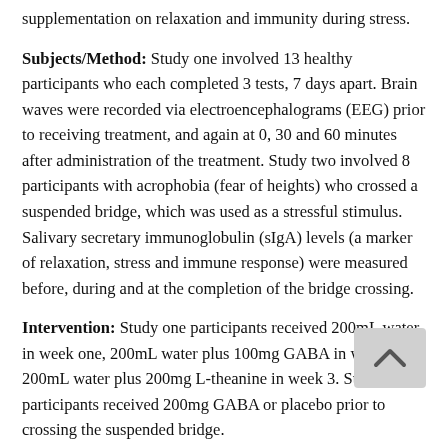supplementation on relaxation and immunity during stress.
Subjects/Method: Study one involved 13 healthy participants who each completed 3 tests, 7 days apart. Brain waves were recorded via electroencephalograms (EEG) prior to receiving treatment, and again at 0, 30 and 60 minutes after administration of the treatment. Study two involved 8 participants with acrophobia (fear of heights) who crossed a suspended bridge, which was used as a stressful stimulus. Salivary secretary immunoglobulin (sIgA) levels (a marker of relaxation, stress and immune response) were measured before, during and at the completion of the bridge crossing.
Intervention: Study one participants received 200mL water in week one, 200mL water plus 100mg GABA in week 2 and 200mL water plus 200mg L-theanine in week 3. Study two participants received 200mg GABA or placebo prior to crossing the suspended bridge.